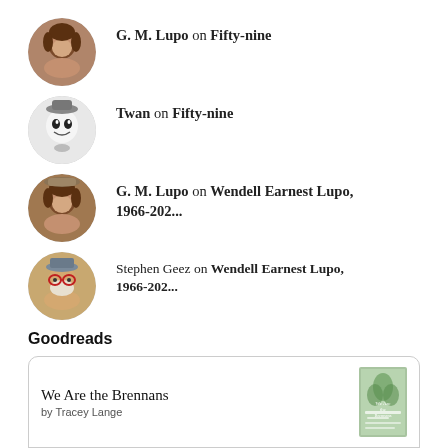G. M. Lupo on Fifty-nine
Twan on Fifty-nine
G. M. Lupo on Wendell Earnest Lupo, 1966-202...
Stephen Geez on Wendell Earnest Lupo, 1966-202...
Goodreads
We Are the Brennans by Tracey Lange
Listen To Me